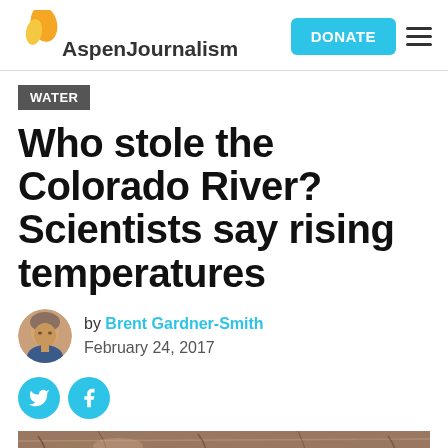Aspen Journalism
WATER
Who stole the Colorado River? Scientists say rising temperatures
by Brent Gardner-Smith
February 24, 2017
[Figure (photo): Photo of rocky canyon walls along the Colorado River, showing layered sandstone formations in warm brown and tan tones.]